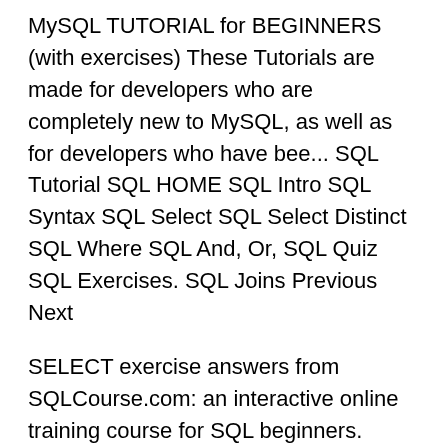MySQL TUTORIAL for BEGINNERS (with exercises) These Tutorials are made for developers who are completely new to MySQL, as well as for developers who have bee... SQL Tutorial SQL HOME SQL Intro SQL Syntax SQL Select SQL Select Distinct SQL Where SQL And, Or, SQL Quiz SQL Exercises. SQL Joins Previous Next
SELECT exercise answers from SQLCourse.com: an interactive online training course for SQL beginners. Answers to frequently asked questions when testing and solving exercises on the SQL Exercises site, devoted to training and certification on SQL DML language.
Join Dan Sullivan for an in-depth discussion in